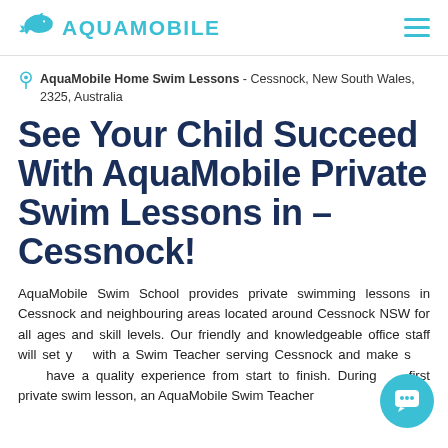AQUAMOBILE
AquaMobile Home Swim Lessons - Cessnock, New South Wales, 2325, Australia
See Your Child Succeed With AquaMobile Private Swim Lessons in – Cessnock!
AquaMobile Swim School provides private swimming lessons in Cessnock and neighbouring areas located around Cessnock NSW for all ages and skill levels. Our friendly and knowledgeable office staff will set you with a Swim Teacher serving Cessnock and make sure you have a quality experience from start to finish. During the first private swim lesson, an AquaMobile Swim Teacher